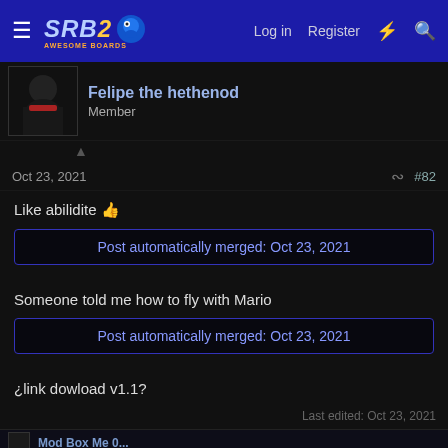SRB2 — Log in | Register
Felipe the hethenod
Member
Oct 23, 2021  #82
Like abilidite 👍
Post automatically merged: Oct 23, 2021
Someone told me how to fly with Mario
Post automatically merged: Oct 23, 2021
¿link dowload v1.1?
Last edited: Oct 23, 2021